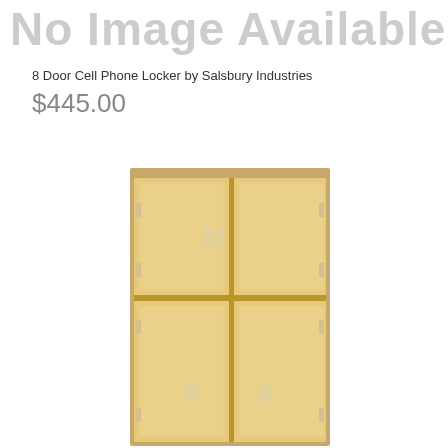No Image Available
8 Door Cell Phone Locker by Salsbury Industries
$445.00
[Figure (photo): A tall wooden cell phone locker unit with 4 doors (2 columns x 2 rows), featuring small handles on each door. The locker has a light maple/birch wood finish.]